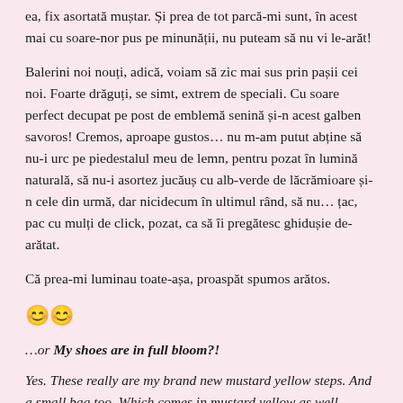ea, fix asortată muștar. Și prea de tot parcă-mi sunt, în acest mai cu soare-nor pus pe minunății, nu puteam să nu vi le-arăt!
Balerini noi nouți, adică, voiam să zic mai sus prin pașii cei noi. Foarte drăguți, se simt, extrem de speciali. Cu soare perfect decupat pe post de emblemă senină și-n acest galben savoros! Cremos, aproape gustos… nu m-am putut abține să nu-i urc pe piedestalul meu de lemn, pentru pozat în lumină naturală, să nu-i asortez jucăuș cu alb-verde de lăcrămioare și-n cele din urmă, dar nicidecum în ultimul rând, să nu… țac, pac cu mulți de click, pozat, ca să îi pregătesc ghidușie de-arătat.
Că prea-mi luminau toate-așa, proaspăt spumos arătos.
😊😊
…or My shoes are in full bloom?!
Yes. These really are my brand new mustard yellow steps. And a small bag too. Which comes in mustard yellow as well. Shining too bright and beautiful, they were, on a sunny Sunday, that I couldn't help